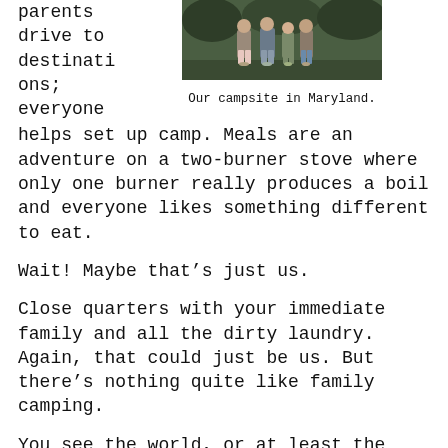parents drive to destinations; everyone
[Figure (photo): Photo of people standing outdoors at a campsite, with greenery in the background.]
Our campsite in Maryland.
helps set up camp. Meals are an adventure on a two-burner stove where only one burner really produces a boil and everyone likes something different to eat.
Wait! Maybe that’s just us.
Close quarters with your immediate family and all the dirty laundry. Again, that could just be us. But there’s nothing quite like family camping.
You see the world, or at least the continental United States and Canada in our case. Although we did take the...